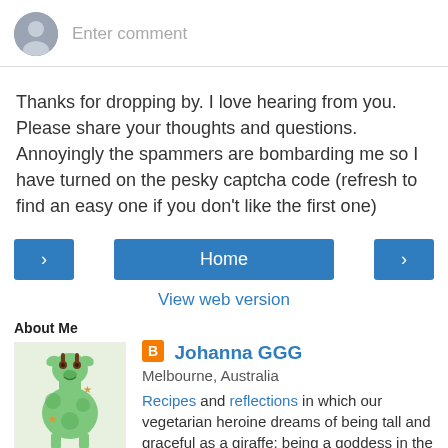Enter comment
Thanks for dropping by. I love hearing from you. Please share your thoughts and questions. Annoyingly the spammers are bombarding me so I have turned on the pesky captcha code (refresh to find an easy one if you don't like the first one)
< Home >
View web version
About Me
[Figure (photo): Giraffe-shaped green cookie/cake decoration photo]
Johanna GGG
Melbourne, Australia
Recipes and reflections in which our vegetarian heroine dreams of being tall and graceful as a giraffe; being a goddess in the kitchen; and being gladdened